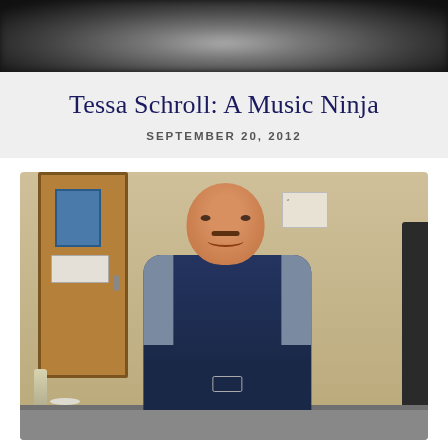[Figure (photo): Partial blurred black and white photo at top of page, serving as hero/banner image]
Tessa Schroll: A Music Ninja
SEPTEMBER 20, 2012
[Figure (photo): Color photograph of a smiling bald middle-aged man wearing a dark navy blue Nike jacket with gray panels, seated at a table in what appears to be a school or institutional setting with a wooden door visible in the background]